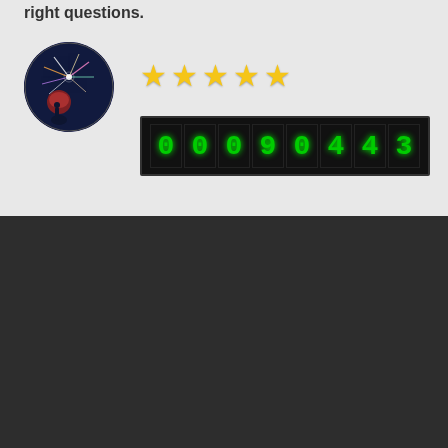right questions.
[Figure (logo): Circular logo with fireworks/sparkler image against dark night sky background, StarworksUSA brand logo]
[Figure (infographic): Five gold star rating display]
[Figure (infographic): Digital LED counter display showing 00090443 in green digits on black background]
CONTACT STARWORKSUSA
StarworksUSA
PO Box 309
Niwot, CO 80544
For questions & more information:
expo@starworksusa.com
303-415-3900